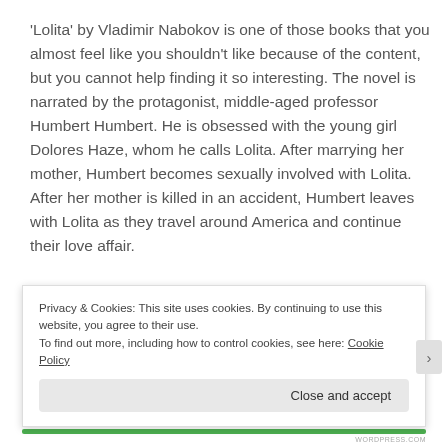'Lolita' by Vladimir Nabokov is one of those books that you almost feel like you shouldn't like because of the content, but you cannot help finding it so interesting. The novel is narrated by the protagonist, middle-aged professor Humbert Humbert. He is obsessed with the young girl Dolores Haze, whom he calls Lolita. After marrying her mother, Humbert becomes sexually involved with Lolita. After her mother is killed in an accident, Humbert leaves with Lolita as they travel around America and continue their love affair.
[Figure (photo): Partial photo of a person in a white t-shirt, partially obscured]
[Figure (other): Blue 'Get the app' button]
Privacy & Cookies: This site uses cookies. By continuing to use this website, you agree to their use.
To find out more, including how to control cookies, see here: Cookie Policy
Close and accept